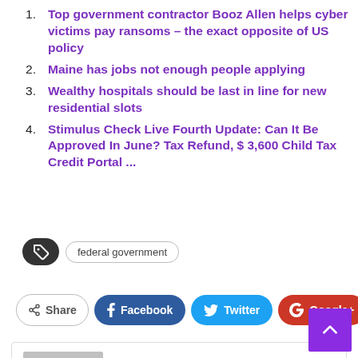Top government contractor Booz Allen helps cyber victims pay ransoms – the exact opposite of US policy
Maine has jobs not enough people applying
Wealthy hospitals should be last in line for new residential slots
Stimulus Check Live Fourth Update: Can It Be Approved In June? Tax Refund, $ 3,600 Child Tax Credit Portal ...
federal government
Share  Facebook  Twitter  Google+  +
Aaron D. Lewis